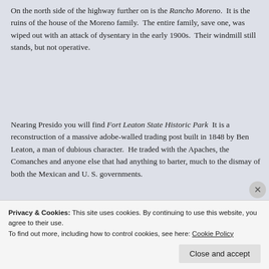On the north side of the highway further on is the Rancho Moreno. It is the ruins of the house of the Moreno family. The entire family, save one, was wiped out with an attack of dysentary in the early 1900s. Their windmill still stands, but not operative.
Nearing Presido you will find Fort Leaton State Historic Park It is a reconstruction of a massive adobe-walled trading post built in 1848 by Ben Leaton, a man of dubious character. He traded with the Apaches, the Comanches and anyone else that had anything to barter, much to the dismay of both the Mexican and U. S. governments.
[Figure (photo): Photo of wooden timber scaffolding/frame leaning against an adobe wall, with a pale sky in the background. Fort Leaton State Historic Park.]
Privacy & Cookies: This site uses cookies. By continuing to use this website, you agree to their use.
To find out more, including how to control cookies, see here: Cookie Policy
Close and accept